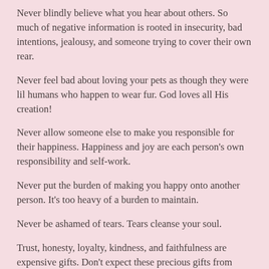Never blindly believe what you hear about others. So much of negative information is rooted in insecurity, bad intentions, jealousy, and someone trying to cover their own rear.
Never feel bad about loving your pets as though they were lil humans who happen to wear fur. God loves all His creation!
Never allow someone else to make you responsible for their happiness. Happiness and joy are each person's own responsibility and self-work.
Never put the burden of making you happy onto another person. It's too heavy of a burden to maintain.
Never be ashamed of tears. Tears cleanse your soul.
Trust, honesty, loyalty, kindness, and faithfulness are expensive gifts. Don't expect these precious gifts from cheap people.
Never give up or jeopardize your belief in God…or your relationship with Him…especially if it's due to how a “Christian” treated you. There’s a huge difference between a genuine Christian and a Church Attender or church staff. A Christian loves, honors, and obeys God